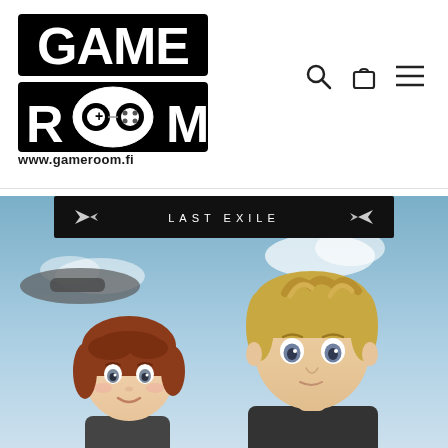[Figure (logo): GAME ROOM logo with stylized text and game controller graphic]
www.gameroom.fi
[Figure (photo): Last Exile anime product cover showing two anime characters (a girl with red-brown hair and a boy with blonde hair) against a blue sky background, with 'LAST EXILE' text on a dark banner at top]